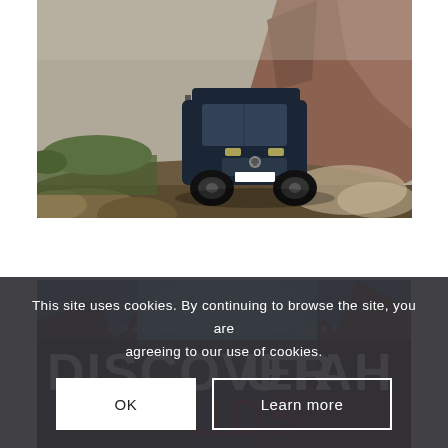[Figure (photo): A dark blue Mercedes-Benz Sprinter van driving on a rocky off-road trail with red rock canyon walls and green vegetation in the background, dust rising around the vehicle.]
[Figure (photo): Book cover or website banner for 'Discover Utah Kids' with subtitle 'A Parents Guide All Ages', showing a canyon landscape with blue sky.]
This site uses cookies. By continuing to browse the site, you are agreeing to our use of cookies.
OK
Learn more